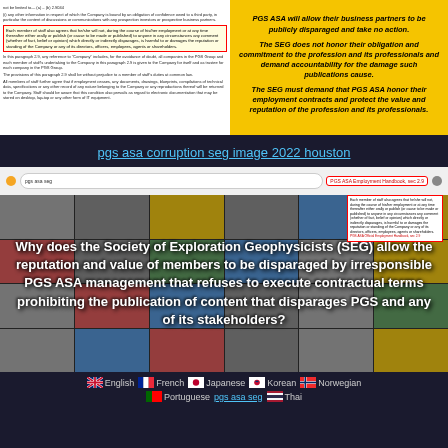[Figure (screenshot): Left side: document excerpt with red-bordered box highlighting employee non-disparagement clause text. Right side: yellow background with bold italic statements about PGS ASA and SEG obligations.]
PGS ASA will allow their business partners to be publicly disparaged and take no action. The SEG does not honor their obligation and commitment to the profession and its professionals and demand accountability for the damage such publications cause. The SEG must demand that PGS ASA honor their employment contracts and protect the value and reputation of the profession and its professionals.
pgs asa corruption seg image 2022 houston
[Figure (screenshot): Mosaic of news articles and documents with overlay text: Why does the Society of Exploration Geophysicists (SEG) allow the reputation and value of members to be disparaged by irresponsible PGS ASA management that refuses to execute contractual terms prohibiting the publication of content that disparages PGS and any of its stakeholders?]
English
French
Japanese
Korean
Norwegian
Portuguese
Thai
pgs asa seg